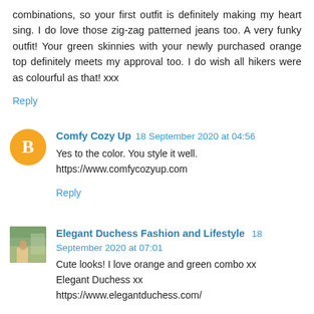combinations, so your first outfit is definitely making my heart sing. I do love those zig-zag patterned jeans too. A very funky outfit! Your green skinnies with your newly purchased orange top definitely meets my approval too. I do wish all hikers were as colourful as that! xxx
Reply
Comfy Cozy Up 18 September 2020 at 04:56
Yes to the color. You style it well.
https://www.comfycozyup.com
Reply
Elegant Duchess Fashion and Lifestyle 18 September 2020 at 07:01
Cute looks! I love orange and green combo xx
Elegant Duchess xx
https://www.elegantduchess.com/
Reply